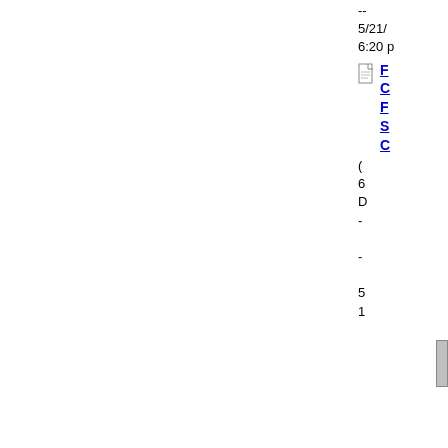--
5/21/
6:20 p
[Figure (illustration): File/document icon]
F
C
F
S
C
(
6
D
-
-
5
1